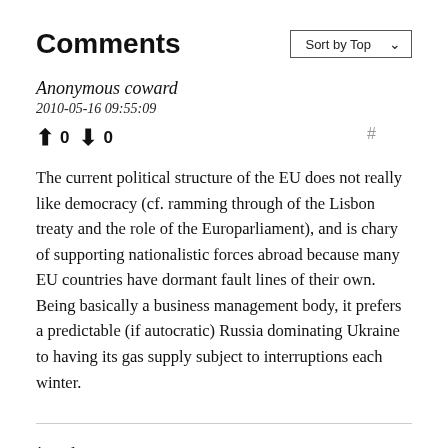Comments
Anonymous coward
2010-05-16 09:55:09
↑ 0 ↓ 0
The current political structure of the EU does not really like democracy (cf. ramming through of the Lisbon treaty and the role of the Europarliament), and is chary of supporting nationalistic forces abroad because many EU countries have dormant fault lines of their own. Being basically a business management body, it prefers a predictable (if autocratic) Russia dominating Ukraine to having its gas supply subject to interruptions each winter.
jorod
2010-05-16 12:11:46